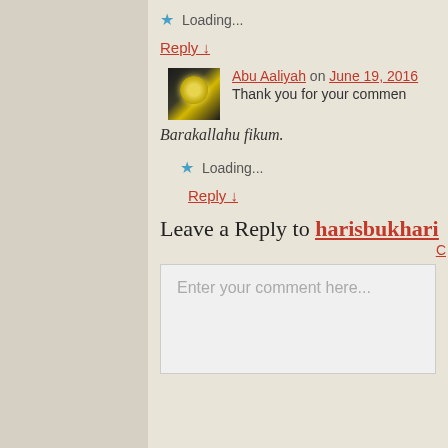Loading...
Reply ↓
Abu Aaliyah on June 19, 2016
Thank you for your comment. Barakallahu fikum.
Loading...
Reply ↓
Leave a Reply to harisbukhari
Enter your comment here...